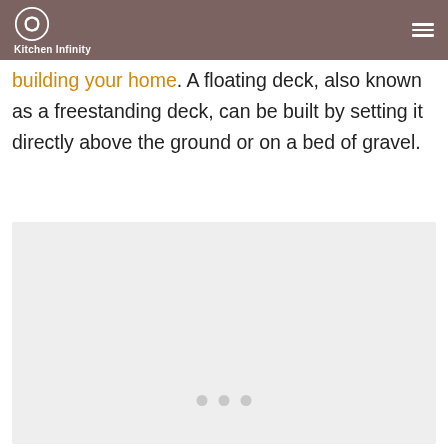Kitchen Infinity
building your home. A floating deck, also known as a freestanding deck, can be built by setting it directly above the ground or on a bed of gravel.
[Figure (photo): Image placeholder with light gray background and three gray dots at the bottom indicating an image carousel]